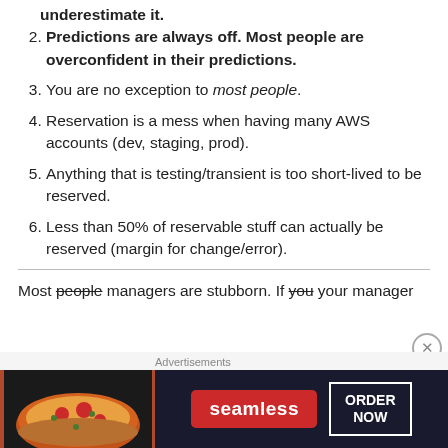underestimate it.
Predictions are always off. Most people are overconfident in their predictions.
You are no exception to most people.
Reservation is a mess when having many AWS accounts (dev, staging, prod).
Anything that is testing/transient is too short-lived to be reserved.
Less than 50% of reservable stuff can actually be reserved (margin for change/error).
Most people managers are stubborn. If you your manager
[Figure (other): Seamless food delivery advertisement banner with pizza image, Seamless logo, and ORDER NOW button]